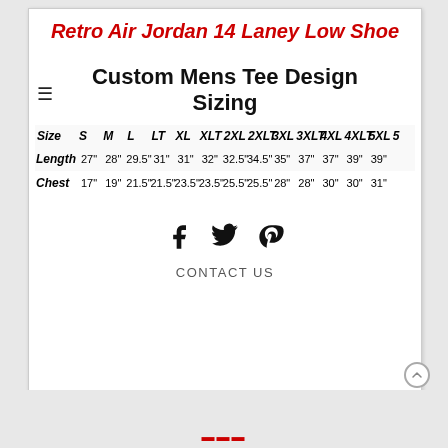Retro Air Jordan 14 Laney Low Shoe
Custom Mens Tee Design Sizing
| Size | S | M | L | LT | XL | XLT | 2XL | 2XLT | 3XL | 3XLT | 4XL | 4XLT | 5XL | 5… |
| --- | --- | --- | --- | --- | --- | --- | --- | --- | --- | --- | --- | --- | --- | --- |
| Length | 27" | 28" | 29.5" | 31" | 31" | 32" | 32.5" | 34.5" | 35" | 37" | 37" | 39" | 39" | … |
| Chest | 17" | 19" | 21.5" | 21.5" | 23.5" | 23.5" | 25.5" | 25.5" | 28" | 28" | 30" | 30" | 31" | … |
[Figure (infographic): Social media icons: Facebook, Twitter, Pinterest]
CONTACT US